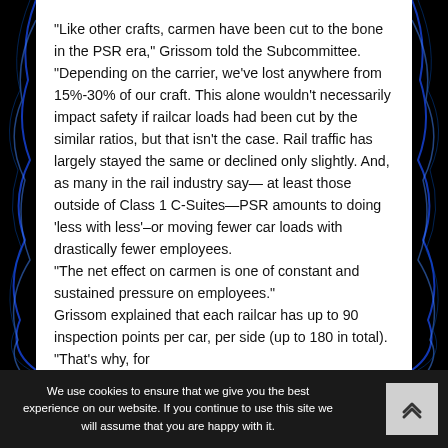“Like other crafts, carmen have been cut to the bone in the PSR era,” Grissom told the Subcommittee. “Depending on the carrier, we’ve lost anywhere from 15%-30% of our craft. This alone wouldn’t necessarily impact safety if railcar loads had been cut by the similar ratios, but that isn’t the case. Rail traffic has largely stayed the same or declined only slightly. And, as many in the rail industry say— at least those outside of Class 1 C-Suites—PSR amounts to doing ‘less with less’–or moving fewer car loads with drastically fewer employees.
“The net effect on carmen is one of constant and sustained pressure on employees.”
Grissom explained that each railcar has up to 90 inspection points per car, per side (up to 180 in total). “That’s why, for
We use cookies to ensure that we give you the best experience on our website. If you continue to use this site we will assume that you are happy with it.